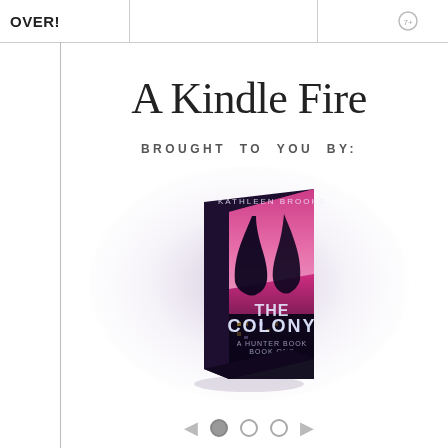OVER!
A Kindle Fire
BROUGHT TO YOU BY:
[Figure (illustration): A 3D book cover for 'The Colony' showing a romantic silhouette against a pink/magenta sky with a dark urban background, displayed at an angle with a soft purple-white radial glow surrounding it. Below the book are carousel navigation arrows and dots.]